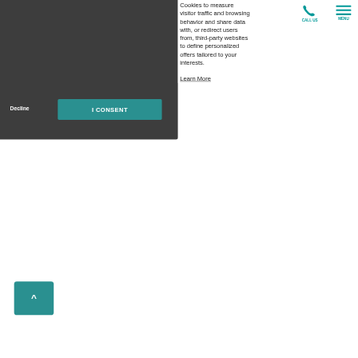Cookies to measure visitor traffic and browsing behavior and share data with, or redirect users from, third-party websites to define personalized offers tailored to your interests.
CALL US
MENU
Decline
I CONSENT
Learn More
[Figure (other): Up arrow caret button (teal/dark cyan rounded square button with ^ symbol)]